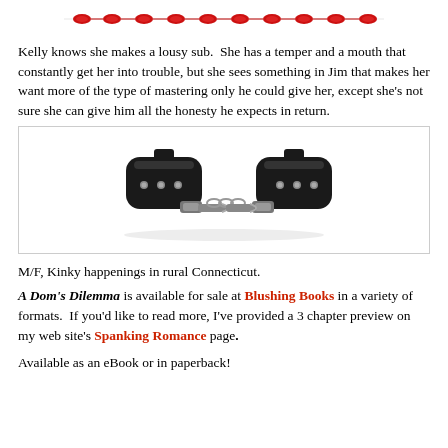[Figure (illustration): Decorative horizontal ornament border made of red oval/diamond shapes connected by thin lines]
Kelly knows she makes a lousy sub.  She has a temper and a mouth that constantly get her into trouble, but she sees something in Jim that makes her want more of the type of mastering only he could give her, except she's not sure she can give him all the honesty he expects in return.
[Figure (photo): Photo of black leather wrist cuffs/restraints connected by a silver chain, on a white background]
M/F, Kinky happenings in rural Connecticut.
A Dom's Dilemma is available for sale at Blushing Books in a variety of formats.  If you'd like to read more, I've provided a 3 chapter preview on my web site's Spanking Romance page.
Available as an eBook or in paperback!